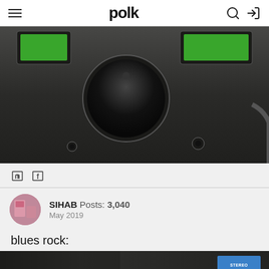polk
[Figure (photo): Close-up photo of audio equipment with dark metal panel, large black knob in center, and green indicator lights visible at top left and top right]
[Figure (other): Social share icons: Twitter bird icon and Facebook f icon]
SIHAB  Posts: 3,040  May 2019
blues rock:
[Figure (photo): Close-up photo of dark audio equipment with a blue stereo sticker label visible on the right side showing a cityscape graphic]